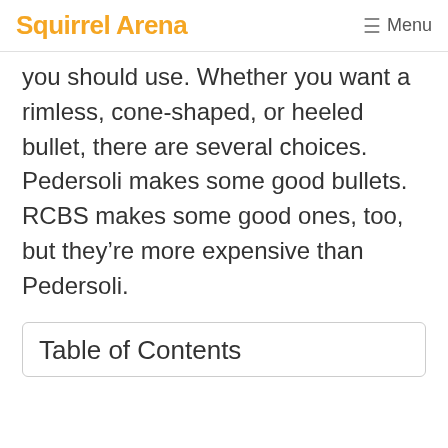Squirrel Arena  ☰ Menu
you should use. Whether you want a rimless, cone-shaped, or heeled bullet, there are several choices. Pedersoli makes some good bullets. RCBS makes some good ones, too, but they're more expensive than Pedersoli.
Table of Contents